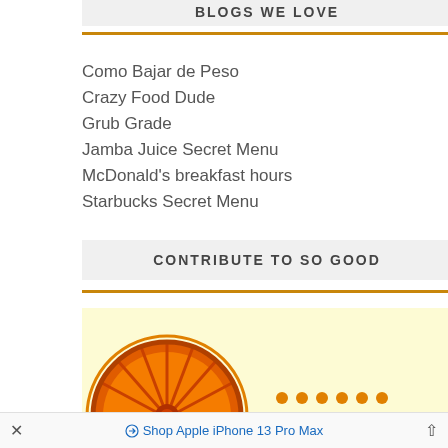BLOGS WE LOVE
Como Bajar de Peso
Crazy Food Dude
Grub Grade
Jamba Juice Secret Menu
McDonald's breakfast hours
Starbucks Secret Menu
CONTRIBUTE TO SO GOOD
[Figure (illustration): Partial view of a sun/wheel graphic with orange and yellow colors on a light yellow background]
✕   Shop Apple iPhone 13 Pro Max   ˄